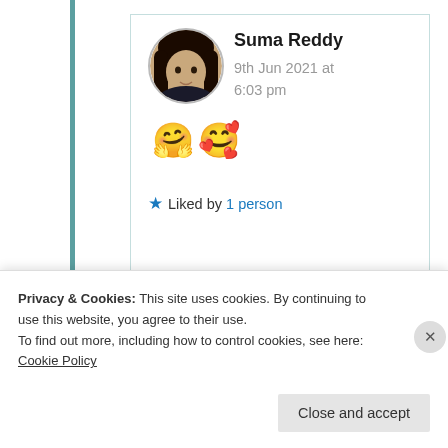[Figure (photo): Circular avatar photo of a woman with long dark hair]
Suma Reddy
9th Jun 2021 at 6:03 pm
🤗🥰
★ Liked by 1 person
Advertisements
Privacy & Cookies: This site uses cookies. By continuing to use this website, you agree to their use.
To find out more, including how to control cookies, see here: Cookie Policy
Close and accept